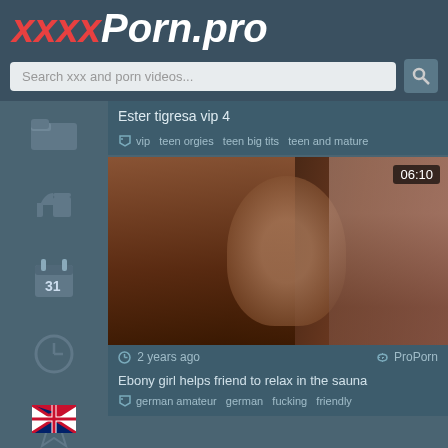xxxxPorn.pro
Search xxx and porn videos...
Ester tigresa vip 4
vip  teen orgies  teen big tits  teen and mature
[Figure (photo): Video thumbnail showing explicit adult content, duration 06:10]
2 years ago   ProPorn
Ebony girl helps friend to relax in the sauna
german amateur  german  fucking  friendly